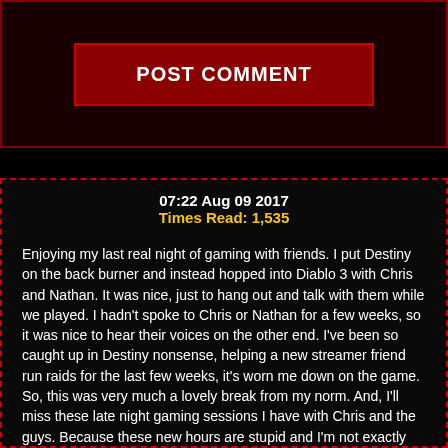POST COMMENT
07:22 Aug 09 2017
Times Read: 1,535
Enjoying my last real night of gaming with friends. I put Destiny on the back burner and instead hopped into Diablo 3 with Chris and Nathan. It was nice, just to hang out and talk with them while we played. I hadn't spoke to Chris or Nathan for a few weeks, so it was nice to hear their voices on the other end. I've been so caught up in Destiny nonsense, helping a new streamer friend run raids for the last few weeks, it's worn me down on the game. So, this was very much a lovely break from my norm. And, I'll miss these late night gaming sessions I have with Chris and the guys. Because these new hours are stupid and I'm not exactly looking forward to it, and I doubt I'll be on much during my downtime. I just gotta make sure I've got